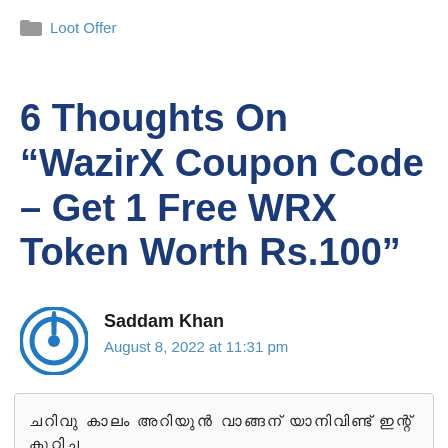Loot Offer
6 Thoughts On “WazirX Coupon Code – Get 1 Free WRX Token Worth Rs.100”
Saddam Khan
August 8, 2022 at 11:31 pm
ചറിവു കാലം അറിയുന്‍ വാങ്ങന് യാനിവിണ്ട് ഇന്റ് കുറിച്ച